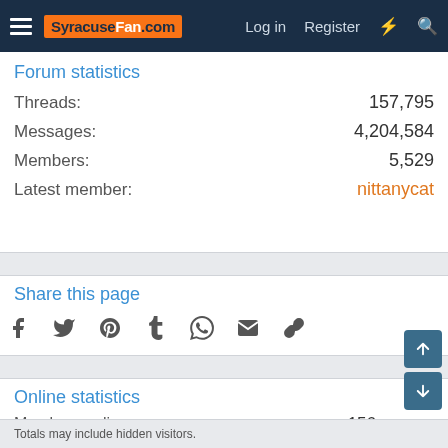SyracuseFan.com — Log in | Register
Forum statistics
| Stat | Value |
| --- | --- |
| Threads: | 157,795 |
| Messages: | 4,204,584 |
| Members: | 5,529 |
| Latest member: | nittanycat |
Share this page
[Figure (infographic): Social share icons: Facebook, Twitter, Pinterest, Tumblr, WhatsApp, Email, Link]
Online statistics
| Stat | Value |
| --- | --- |
| Members online: | 156 |
| Guests online: | 615 |
| Total visitors: | 771 |
Totals may include hidden visitors.